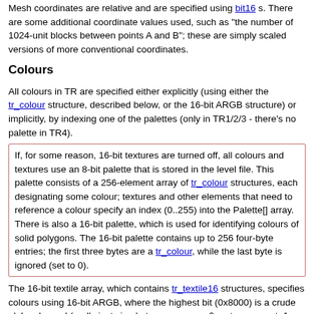Mesh coordinates are relative and are specified using bit16 s. There are some additional coordinate values used, such as "the number of 1024-unit blocks between points A and B"; these are simply scaled versions of more conventional coordinates.
Colours
All colours in TR are specified either explicitly (using either the tr_colour structure, described below, or the 16-bit ARGB structure) or implicitly, by indexing one of the palettes (only in TR1/2/3 - there's no palette in TR4).
If, for some reason, 16-bit textures are turned off, all colours and textures use an 8-bit palette that is stored in the level file. This palette consists of a 256-element array of tr_colour structures, each designating some colour; textures and other elements that need to reference a colour specify an index (0..255) into the Palette[] array. There is also a 16-bit palette, which is used for identifying colours of solid polygons. The 16-bit palette contains up to 256 four-byte entries; the first three bytes are a tr_colour, while the last byte is ignored (set to 0).
The 16-bit textile array, which contains tr_textile16 structures, specifies colours using 16-bit ARGB, where the highest bit (0x8000) is a crude alpha channel (really just simple transparency - 0 ::= transparent, 1 ::= opaque). The next 5 bits (0x7c00) specify the red channel, the next 5 bits (0x03e0) specify the green channel, and the last 5 bits (0x001f) specify the blue channel, each on a scale from 0..31.
The 32-bit textile array, which contains tr_textile32 structures, specifies colours using 32-bit ARGB, where the highest byte is the alpha channel (255 means the texel is fully opaque, 0 the texel is fully transparent). The next bytes specify (in...